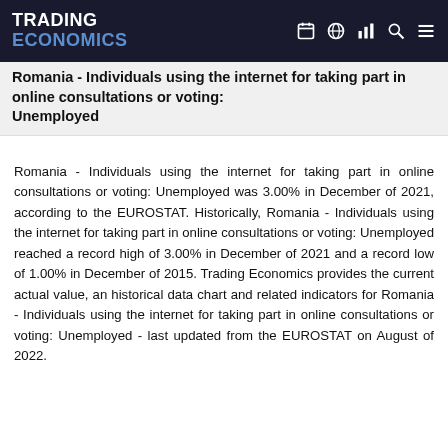TRADING ECONOMICS
Romania - Individuals using the internet for taking part in online consultations or voting: Unemployed
Romania - Individuals using the internet for taking part in online consultations or voting: Unemployed was 3.00% in December of 2021, according to the EUROSTAT. Historically, Romania - Individuals using the internet for taking part in online consultations or voting: Unemployed reached a record high of 3.00% in December of 2021 and a record low of 1.00% in December of 2015. Trading Economics provides the current actual value, an historical data chart and related indicators for Romania - Individuals using the internet for taking part in online consultations or voting: Unemployed - last updated from the EUROSTAT on August of 2022.